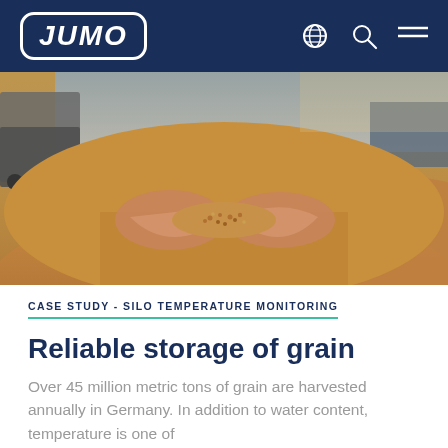JUMO
[Figure (photo): Photograph of a person holding grain in their outstretched hands in front of a large pile of grain, with a truck visible in the background.]
CASE STUDY - SILO TEMPERATURE MONITORING
Reliable storage of grain
Over 45 million metric tons of grain are harvested annually in Germany. In addition to water content, temperature is one of